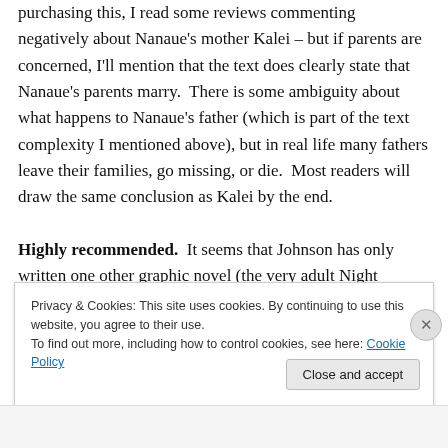purchasing this, I read some reviews commenting negatively about Nanaue's mother Kalei – but if parents are concerned, I'll mention that the text does clearly state that Nanaue's parents marry.  There is some ambiguity about what happens to Nanaue's father (which is part of the text complexity I mentioned above), but in real life many fathers leave their families, go missing, or die.  Most readers will draw the same conclusion as Kalei by the end.
Highly recommended.  It seems that Johnson has only written one other graphic novel (the very adult Night Fisher), but…
Privacy & Cookies: This site uses cookies. By continuing to use this website, you agree to their use.
To find out more, including how to control cookies, see here: Cookie Policy